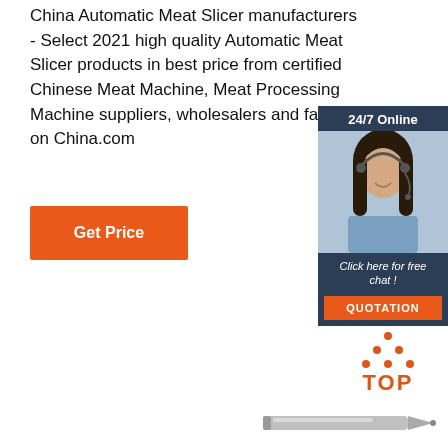China Automatic Meat Slicer manufacturers - Select 2021 high quality Automatic Meat Slicer products in best price from certified Chinese Meat Machine, Meat Processing Machine suppliers, wholesalers and factory on China.com
[Figure (screenshot): Orange 'Get Price' button]
[Figure (screenshot): 24/7 Online chat widget with a female customer service representative photo, 'Click here for free chat!' text, and orange QUOTATION button]
[Figure (logo): Orange dotted triangle with TOP text label - back to top button]
[Figure (photo): Partial view of a pen or stylus at the bottom right]